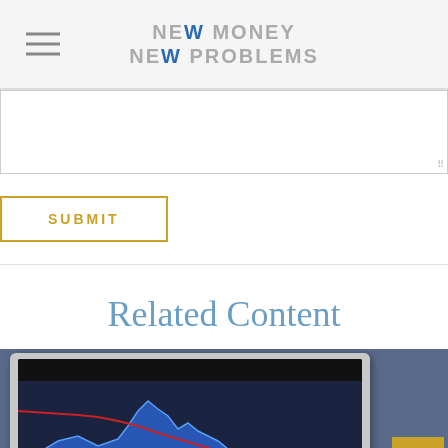NEW MONEY NEW PROBLEMS
[Figure (screenshot): Textarea form input field with resize handle in bottom-right corner]
SUBMIT
Related Content
[Figure (photo): Tablet showing a stock market chart with blue area chart and red declining line, partially visible text 'ARE PRI' at bottom right]